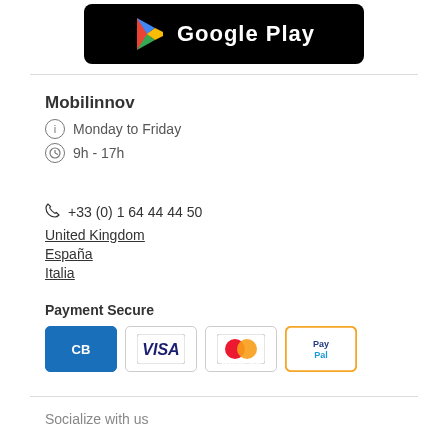[Figure (logo): Google Play store banner with logo and text 'Google Play' on black background]
Mobilinnov
Monday to Friday
9h - 17h
+33 (0) 1 64 44 44 50
United Kingdom
España
Italia
Payment Secure
[Figure (other): Payment method icons: CB (Carte Bleue), VISA, MasterCard, PayPal]
Socialize with us